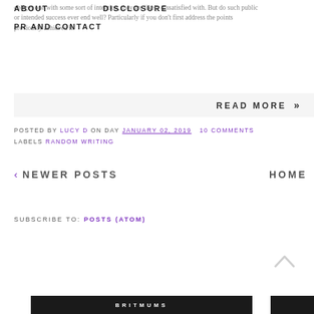ABOUT   DISCLOSURE   PR AND CONTACT
obliges one with some sort of intention, they are likely dissatisfied with. But do such public or intended success ever end well? Particularly if you don't first address the points previously achieved it.
READ MORE »
POSTED BY LUCY D ON DAY JANUARY 02, 2019   10 COMMENTS
LABELS RANDOM WRITING
< NEWER POSTS   HOME
SUBSCRIBE TO: POSTS (ATOM)
BRITMUMS